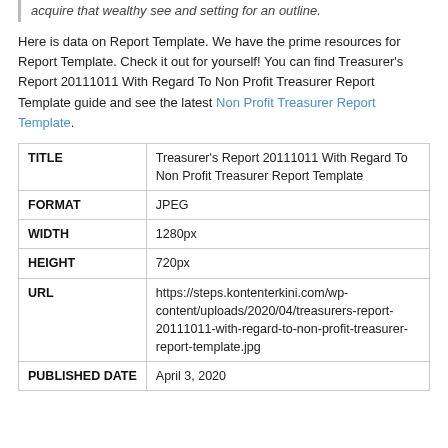acquire that wealthy see and setting for an outline.
Here is data on Report Template. We have the prime resources for Report Template. Check it out for yourself! You can find Treasurer's Report 20111011 With Regard To Non Profit Treasurer Report Template guide and see the latest Non Profit Treasurer Report Template.
|  |  |
| --- | --- |
| TITLE | Treasurer's Report 20111011 With Regard To Non Profit Treasurer Report Template |
| FORMAT | JPEG |
| WIDTH | 1280px |
| HEIGHT | 720px |
| URL | https://steps.kontenterkini.com/wp-content/uploads/2020/04/treasurers-report-20111011-with-regard-to-non-profit-treasurer-report-template.jpg |
| PUBLISHED DATE | April 3, 2020 |